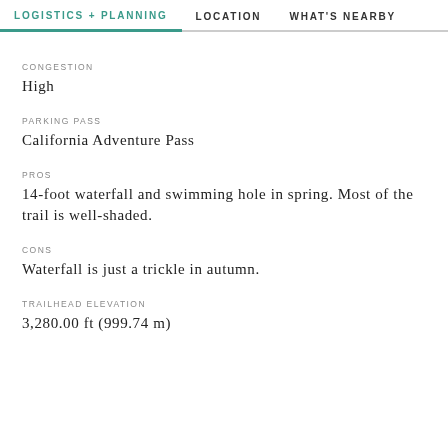LOGISTICS + PLANNING   LOCATION   WHAT'S NEARBY
CONGESTION
High
PARKING PASS
California Adventure Pass
PROS
14-foot waterfall and swimming hole in spring. Most of the trail is well-shaded.
CONS
Waterfall is just a trickle in autumn.
TRAILHEAD ELEVATION
3,280.00 ft (999.74 m)